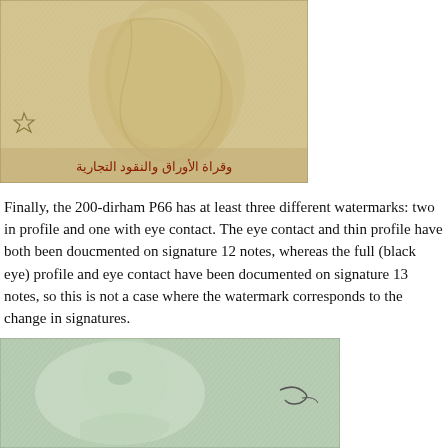[Figure (photo): Close-up photo of a dirham banknote showing watermark area with Arabic text at the bottom and a star symbol on the left. The banknote has a beige/tan color with diagonal line pattern and visible watermark of a numeral.]
Finally, the 200-dirham P66 has at least three different watermarks: two in profile and one with eye contact. The eye contact and thin profile have both been doucmented on signature 12 notes, whereas the full (black eye) profile and eye contact have been documented on signature 13 notes, so this is not a case where the watermark corresponds to the change in signatures.
[Figure (photo): Close-up photo of a dirham banknote showing a watermark area with a face/profile watermark visible. The banknote has a light green/grey color with diagonal line texture. A signature or serial number mark is visible on the right side.]